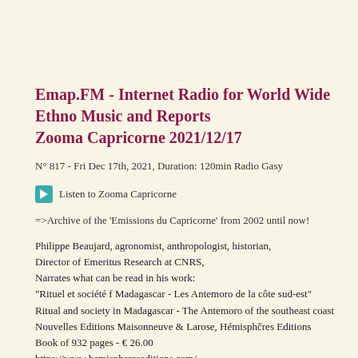Emap.FM - Internet Radio for World Wide Ethno Music and Reports
Zooma Capricorne 2021/12/17
N° 817 - Fri Dec 17th, 2021, Duration: 120min Radio Gasy
Listen to Zooma Capricorne
=>Archive of the 'Emissions du Capricorne' from 2002 until now!
Philippe Beaujard, agronomist, anthropologist, historian,
Director of Emeritus Research at CNRS,
Narrates what can be read in his work:
"Rituel et société f Madagascar - Les Antemoro de la côte sud-est"
Ritual and society in Madagascar - The Antemoro of the southeast coast
Nouvelles Editions Maisonneuve & Larose, Hémisphčres Editions
Book of 932 pages - € 26.00
https://www.hemisphereseditions.com/
https://www.decitre.fr/auteur/218318/Philippe+Beaujard
Playlist: